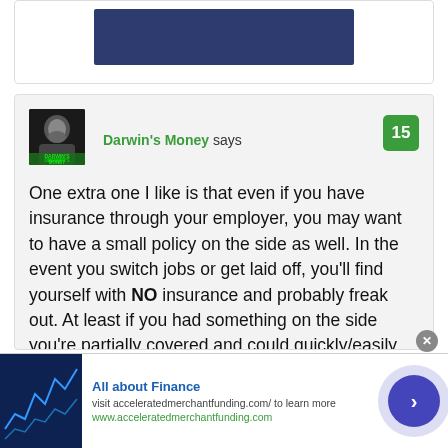[Figure (other): Dark navy blue banner/header image at top of card]
[Figure (photo): Avatar photo of Darwin's Money commenter — black and white portrait of bearded man with green 'Darwin's Money' text overlay]
Darwin's Money says
15
One extra one I like is that even if you have insurance through your employer, you may want to have a small policy on the side as well. In the event you switch jobs or get laid off, you'll find yourself with NO insurance and probably freak out. At least if you had something on the side you're partially covered and could quickly/easily
[Figure (photo): Advertisement banner: All about Finance — stock market chart image on left, text promoting acceleratedmerchantfunding.com, purple arrow button on right]
All about Finance
visit acceleratedmerchantfunding.com/ to learn more
www.acceleratedmerchantfunding.com